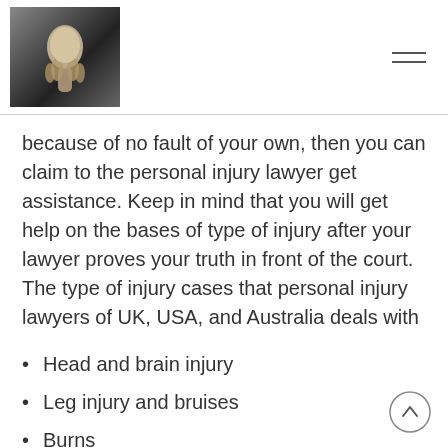[Figure (photo): Logo image of a hand holding an egg-shaped object, top-left header area]
because of no fault of your own, then you can claim to the personal injury lawyer get assistance. Keep in mind that you will get help on the bases of type of injury after your lawyer proves your truth in front of the court. The type of injury cases that personal injury lawyers of UK, USA, and Australia deals with
Head and brain injury
Leg injury and bruises
Burns
Whiplash
Scars